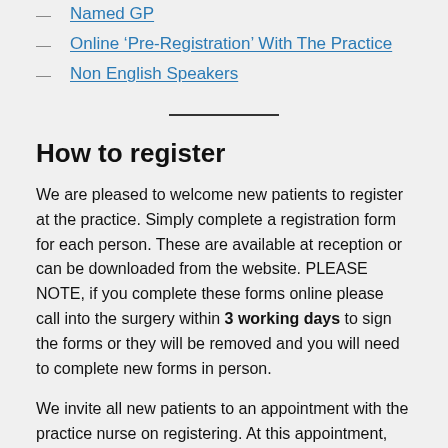Named GP
Online ‘Pre-Registration’ With The Practice
Non English Speakers
How to register
We are pleased to welcome new patients to register at the practice. Simply complete a registration form for each person. These are available at reception or can be downloaded from the website. PLEASE NOTE, if you complete these forms online please call into the surgery within 3 working days to sign the forms or they will be removed and you will need to complete new forms in person.
We invite all new patients to an appointment with the practice nurse on registering. At this appointment, the